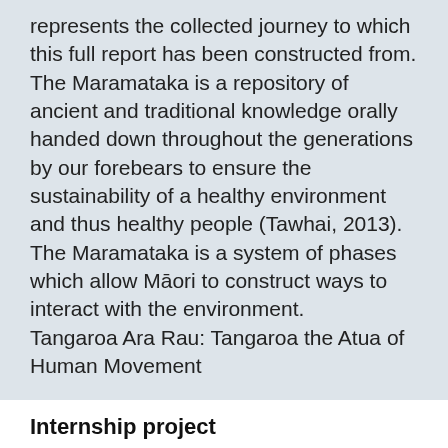represents the collected journey to which this full report has been constructed from. The Maramataka is a repository of ancient and traditional knowledge orally handed down throughout the generations by our forebears to ensure the sustainability of a healthy environment and thus healthy people (Tawhai, 2013).
The Maramataka is a system of phases which allow Māori to construct ways to interact with the environment.
Tangaroa Ara Rau: Tangaroa the Atua of Human Movement
Internship project
Project commenced: 2019
Tangaroa Ara Rau: Whānau connections & Water Safety